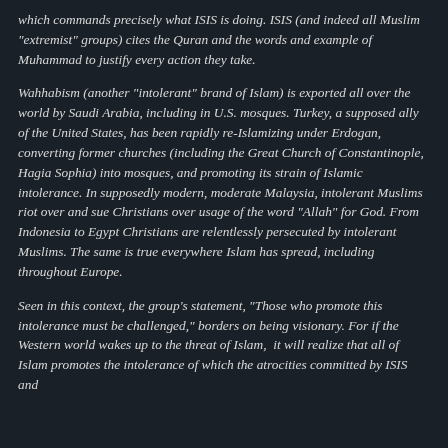which commands precisely what ISIS is doing. ISIS (and indeed all Muslim "extremist" groups) cites the Quran and the words and example of Muhammad to justify every action they take.
Wahhabism (another "intolerant" brand of Islam) is exported all over the world by Saudi Arabia, including in U.S. mosques. Turkey, a supposed ally of the United States, has been rapidly re-Islamizing under Erdogan, converting former churches (including the Great Church of Constantinople, Hagia Sophia) into mosques, and promoting its strain of Islamic intolerance. In supposedly modern, moderate Malaysia, intolerant Muslims riot over and sue Christians over usage of the word "Allah" for God. From Indonesia to Egypt Christians are relentlessly persecuted by intolerant Muslims. The same is true everywhere Islam has spread, including throughout Europe.
Seen in this context, the group's statement, "Those who promote this intolerance must be challenged," borders on being visionary. For if the Western world wakes up to the threat of Islam,  it will realize that all of Islam promotes the intolerance of which the atrocities committed by ISIS and